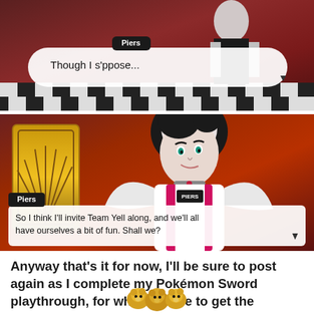[Figure (screenshot): Pokemon Sword game screenshot showing character Piers with dialogue box saying 'Though I s'ppose...']
[Figure (screenshot): Pokemon Sword game screenshot showing character Piers with dialogue box saying 'So I think I'll invite Team Yell along, and we'll all have ourselves a bit of fun. Shall we?']
Anyway that's it for now, I'll be sure to post again as I complete my Pokémon Sword playthrough, for which I hope to get the expansion pass as well.
[Figure (illustration): Small emoji or character illustrations at the bottom of the page]